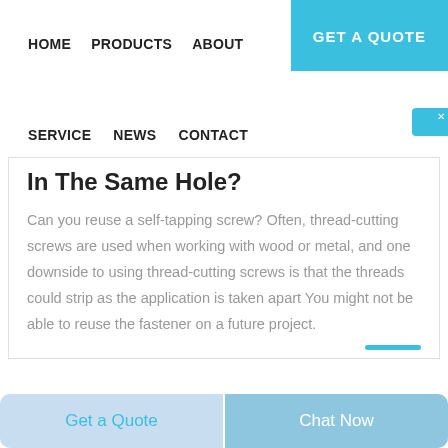HOME   PRODUCTS   ABOUT   GET A QUOTE
SERVICE   NEWS   CONTACT
[Figure (screenshot): Chinese online chat widget button with text 在线咨询 (Online Consultation) and a close X icon]
In The Same Hole?
Can you reuse a self-tapping screw? Often, thread-cutting screws are used when working with wood or metal, and one downside to using thread-cutting screws is that the threads could strip as the application is taken apart You might not be able to reuse the fastener on a future project.
Get a Quote   Chat Now